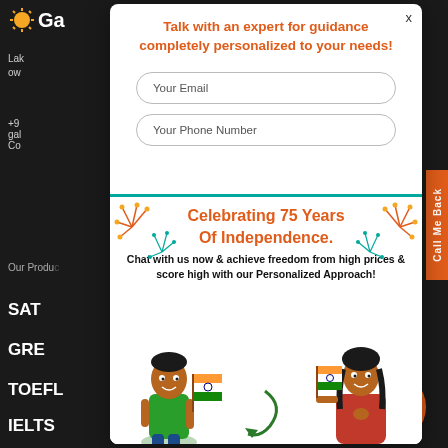[Figure (screenshot): Website screenshot showing dark sidebar with navigation items (SAT, GRE, TOEFL, IELTS) and a modal popup dialog]
Talk with an expert for guidance completely personalized to your needs!
Your Email
Your Phone Number
Celebrating 75 Years Of Independence.
Chat with us now & achieve freedom from high prices & score high with our Personalized Approach!
Lak...
+9...
gal...
Con...
Our Products
SAT
GRE
TOEFL
IELTS